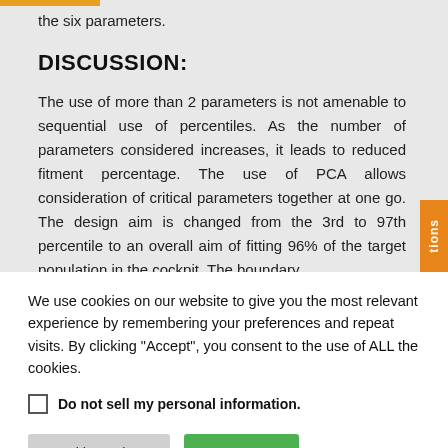the six parameters.
DISCUSSION:
The use of more than 2 parameters is not amenable to sequential use of percentiles. As the number of parameters considered increases, it leads to reduced fitment percentage. The use of PCA allows consideration of critical parameters together at one go. The design aim is changed from the 3rd to 97th percentile to an overall aim of fitting 96% of the target population in the cockpit. The boundary
We use cookies on our website to give you the most relevant experience by remembering your preferences and repeat visits. By clicking "Accept", you consent to the use of ALL the cookies.
Do not sell my personal information.